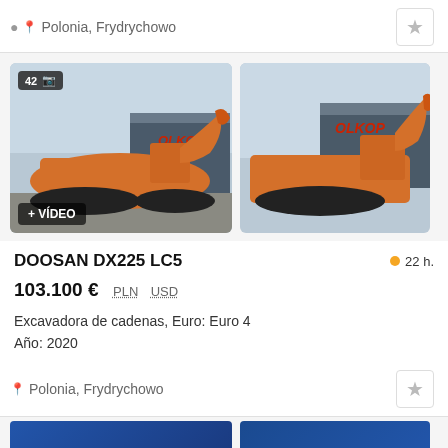Polonia, Frydrychowo
[Figure (photo): Two photos of an orange Doosan DX225 LC5 crawler excavator parked in front of an OLKOP dealership building. Left photo shows badge '42' with camera icon and '+ VÍDEO' overlay. Right photo shows a side view of the same machine.]
DOOSAN DX225 LC5
22 h.
103.100 € PLN USD
Excavadora de cadenas, Euro: Euro 4
Año: 2020
Polonia, Frydrychowo